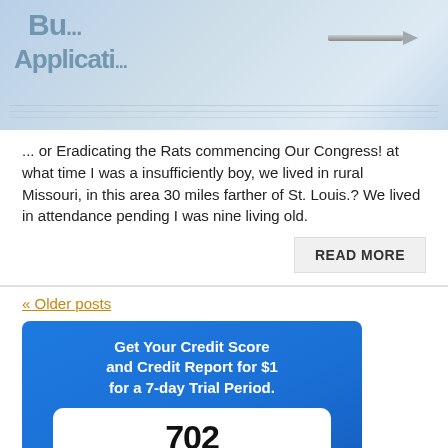[Figure (photo): Photo of a bank or credit application form with a pen resting on it, partially cropped showing 'Bu... Applicati...' text on the form]
... or Eradicating the Rats commencing Our Congress! at what time I was a insufficiently boy, we lived in rural Missouri, in this area 30 miles farther of St. Louis.? We lived in attendance pending I was nine living old.
READ MORE
« Older posts
[Figure (infographic): Advertisement banner: Get Your Credit Score and Credit Report for $1 for a 7-day Trial Period. Shows a credit score of 702 on a gauge bar from 300 to 850, labeled 'Good - Sample score'. Button: Show My Score & Report Now]